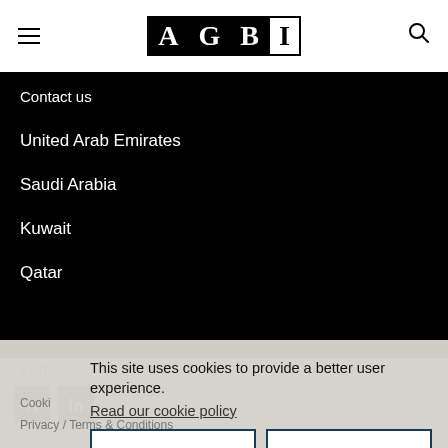AGBI
Contact us
United Arab Emirates
Saudi Arabia
Kuwait
Qatar
This site uses cookies to provide a better user experience.
Read our cookie policy
ACCEPT ALL COOKIES
ACCEPT ONLY FUNCTIONAL COOKIES
Cookies
Privacy / Terms & Conditions